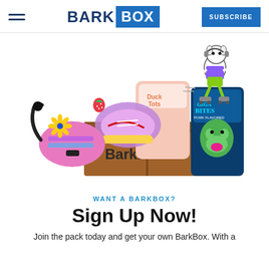BARK BOX | SUBSCRIBE
[Figure (photo): BarkBox unboxing photo showing a BarkBox branded cardboard box surrounded by dog products including a pink fanny pack toy with rope, a sneaker-shaped plush toy, Duck Tots treats bag, Giga Bites pork flavored treats bag, and a baked good toy. Illustrated cartoon elements include a daisy flower, strawberry, and a cartoon dog on roller skates wearing headphones and a purple tank top.]
WANT A BARKBOX?
Sign Up Now!
Join the pack today and get your own BarkBox. With a